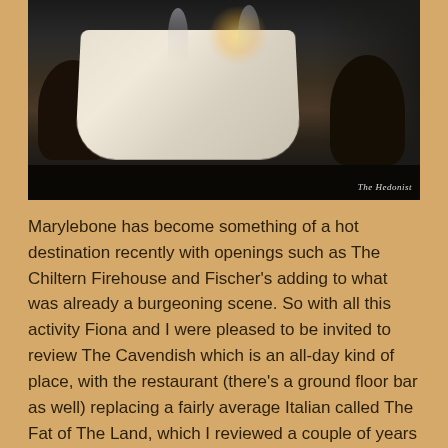[Figure (photo): Interior photo of an upscale restaurant dining room: a table with white tablecloth set with silverware and wine glasses, candles lit, dark wooden chairs, dim atmospheric lighting. Watermark reads 'The Hedonist' in bottom right corner.]
Marylebone has become something of a hot destination recently with openings such as The Chiltern Firehouse and Fischer's adding to what was already a burgeoning scene. So with all this activity Fiona and I were pleased to be invited to review The Cavendish which is an all-day kind of place, with the restaurant (there's a ground floor bar as well) replacing a fairly average Italian called The Fat of The Land, which I reviewed a couple of years ago. The chef. Alfonso Lillo Fas, trained at El Bulli, but the food offer at The Cavendish is a selection of classic French, Italian and Spanish dishes rather than modernist flights of fancy, which should please the conservative Marylebone crowd.